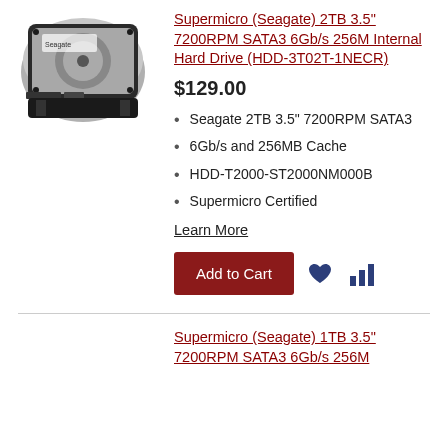[Figure (photo): 3.5 inch internal hard drive, top-angled view, silver and black]
Supermicro (Seagate) 2TB 3.5" 7200RPM SATA3 6Gb/s 256M Internal Hard Drive (HDD-3T02T-1NECR)
$129.00
Seagate 2TB 3.5" 7200RPM SATA3
6Gb/s and 256MB Cache
HDD-T2000-ST2000NM000B
Supermicro Certified
Learn More
Add to Cart
Supermicro (Seagate) 1TB 3.5" 7200RPM SATA3 6Gb/s 256M